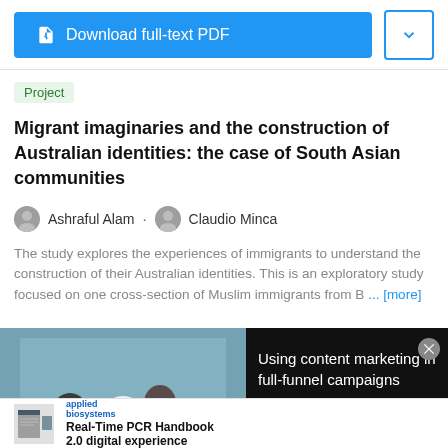[Figure (screenshot): Download full-text PDF button (blue) and dropdown arrow button (white with blue border)]
Project
Migrant imaginaries and the construction of Australian identities: the case of South Asian communities
Ashraful Alam · Claudio Minca
The study explores the experiences of immigrants to understand the construction of their Australian identities. This is an exploratory study focused on one cross-section of Muslim immigrants from B ... [more]
[Figure (screenshot): Video ad overlay showing 'Using content marketing in full-funnel campaigns' with video thumbnail of office workers on left and text on black background on right]
[Figure (screenshot): Bottom advertisement for Applied Biosystems Real-Time PCR Handbook 2.0 digital experience]